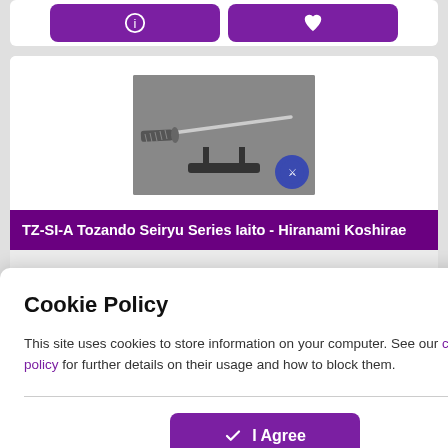[Figure (screenshot): Two purple buttons (info and favourite) at top of a product card, partially cut off]
[Figure (photo): Black and white photograph of a Japanese iaito sword (katana) on a stand, with a blue circular logo badge in the bottom right corner]
TZ-SI-A Tozando Seiryu Series Iaito - Hiranami Koshirae
[Figure (other): Five purple star rating icons]
[Figure (other): Purple heart/favourite button]
Cookie Policy
This site uses cookies to store information on your computer. See our cookie policy for further details on their usage and how to block them.
I Agree